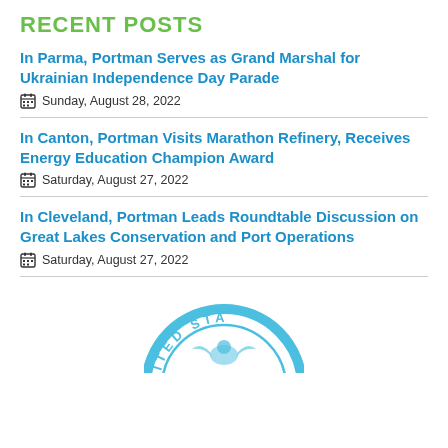RECENT POSTS
In Parma, Portman Serves as Grand Marshal for Ukrainian Independence Day Parade
Sunday, August 28, 2022
In Canton, Portman Visits Marathon Refinery, Receives Energy Education Champion Award
Saturday, August 27, 2022
In Cleveland, Portman Leads Roundtable Discussion on Great Lakes Conservation and Port Operations
Saturday, August 27, 2022
[Figure (logo): Partial circular seal of the United States Senate, light blue color, showing text 'ITED STA' and partial eagle emblem]